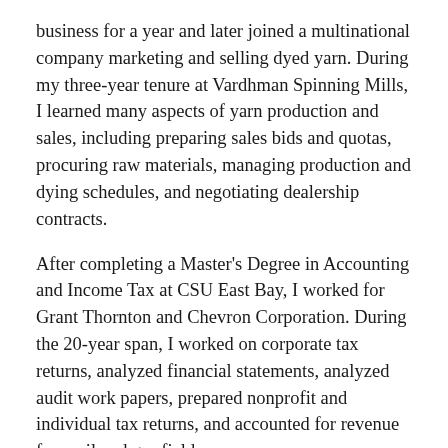business for a year and later joined a multinational company marketing and selling dyed yarn. During my three-year tenure at Vardhman Spinning Mills, I learned many aspects of yarn production and sales, including preparing sales bids and quotas, procuring raw materials, managing production and dying schedules, and negotiating dealership contracts.
After completing a Master's Degree in Accounting and Income Tax at CSU East Bay, I worked for Grant Thornton and Chevron Corporation. During the 20-year span, I worked on corporate tax returns, analyzed financial statements, analyzed audit work papers, prepared nonprofit and individual tax returns, and accounted for revenue from oil and gas fields.
I started my teaching career as a part-time faculty member at Chabot College and CSU East Bay. During that time, I had the opportunity to teach students from different walks of life, including returning students, veterans, and first-time college students. While I was teaching part-time, I continued working full-time as a tax consultant.
I joined Business Department at LPC for a fulltime position in 2007 and enjoy all aspects of teaching — in particular, getting to